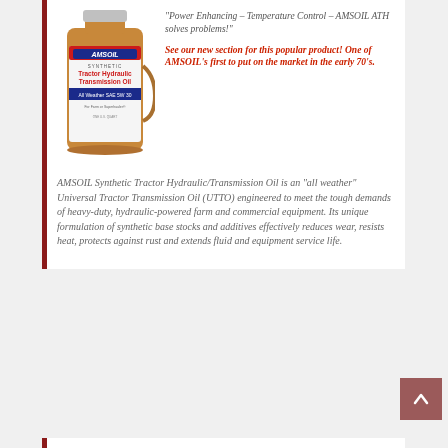[Figure (photo): AMSOIL Synthetic Tractor Hydraulic Transmission Oil bottle - brown/amber colored 1-quart jug with AMSOIL logo in red and blue, label reads 'SYNTHETIC Tractor Hydraulic Transmission Oil All Weather SAE 5W 30']
“Power Enhancing – Temperature Control – AMSOIL ATH solves problems!”
See our new section for this popular product! One of AMSOIL’s first to put on the market in the early 70’s.
AMSOIL Synthetic Tractor Hydraulic/Transmission Oil is an “all weather” Universal Tractor Transmission Oil (UTTO) engineered to meet the tough demands of heavy-duty, hydraulic-powered farm and commercial equipment. Its unique formulation of synthetic base stocks and additives effectively reduces wear, resists heat, protects against rust and extends fluid and equipment service life.